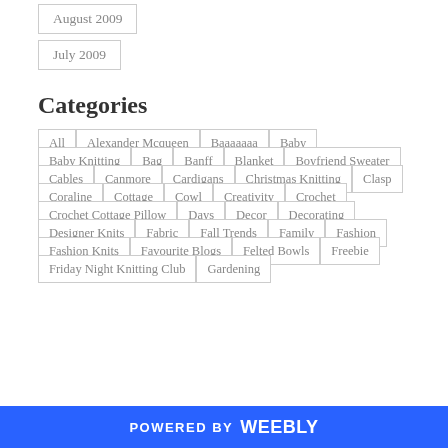August 2009
July 2009
Categories
All
Alexander Mcqueen
Baaaaaaa
Baby
Baby Knitting
Bag
Banff
Blanket
Boyfriend Sweater
Cables
Canmore
Cardigans
Christmas Knitting
Clasp
Coraline
Cottage
Cowl
Creativity
Crochet
Crochet Cottage Pillow
Days
Decor
Decorating
Designer Knits
Fabric
Fall Trends
Family
Fashion
Fashion Knits
Favourite Blogs
Felted Bowls
Freebie
Friday Night Knitting Club
Gardening
POWERED BY weebly